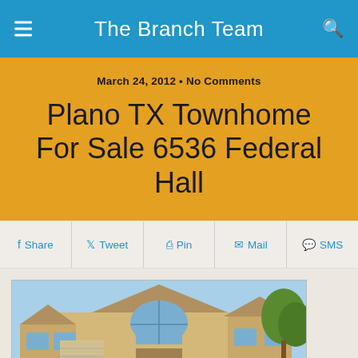The Branch Team
March 24, 2012 • No Comments
Plano TX Townhome For Sale 6536 Federal Hall
Share
Tweet
Pin
Mail
SMS
[Figure (photo): Exterior photo of a brick townhome with arched window above the garage area, blue sky background and trees]